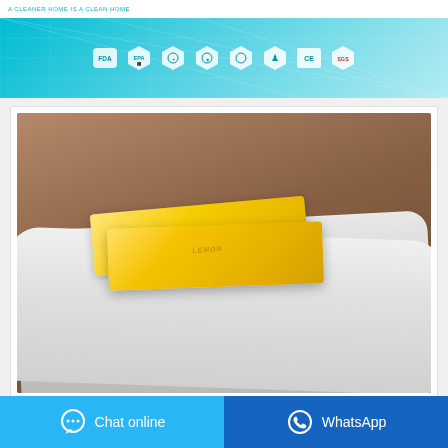A CLEANER HOME IS A CLEAN HOME
[Figure (infographic): Teal/cyan banner with certification badge icons: FDA, EPA, and several hexagonal certification logos including CE and SGS, with geometric grid background pattern]
[Figure (photo): Product photo of two yellow/golden soap bars stacked on a white cloth/fabric on a wooden surface. The soap bars have embossed text on them.]
Chat online
WhatsApp